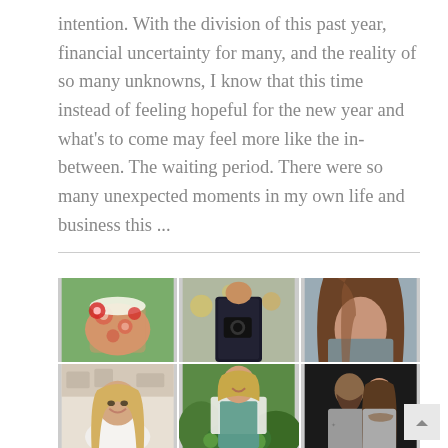intention. With the division of this past year, financial uncertainty for many, and the reality of so many unknowns, I know that this time instead of feeling hopeful for the new year and what's to come may feel more like the in-between. The waiting period. There were so many unexpected moments in my own life and business this ...
[Figure (photo): A 2x3 grid of lifestyle photos showing people: top row has a floral dress detail, a person in a dark jacket holding camera gear, and a woman with long brown hair; bottom row has a smiling blonde woman in a kitchen, a woman in a garden wearing a patterned apron, and a couple embracing against a dark background.]